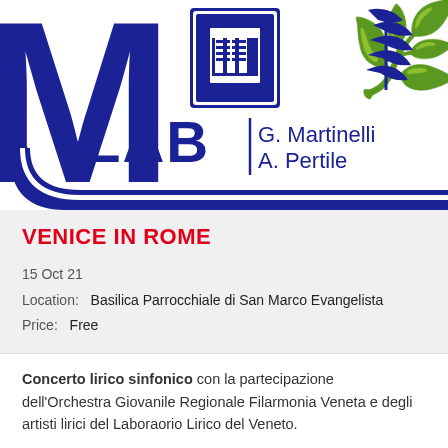[Figure (logo): Venice Lab logo: partial large blue letters 'VE' on left, a blue university crest/shield in center, an olive branch figure on right, below which reads 'LAB | G. Martinelli / A. Pertile' in blue text on a white background with a blue curved bar.]
VENICE IN ROME
15 Oct 21
Location:  Basilica Parrocchiale di San Marco Evangelista
Price:  Free
Concerto lirico sinfonico con la partecipazione dell'Orchestra Giovanile Regionale Filarmonia Veneta e degli artisti lirici del Laboraorio Lirico del Veneto.